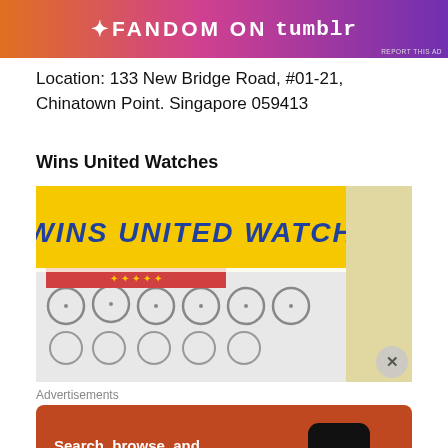[Figure (photo): Fandom on Tumblr advertisement banner with orange, pink, purple gradient background and white text]
Location: 133 New Bridge Road, #01-21, Chinatown Point. Singapore 059413
Wins United Watches
[Figure (photo): Photograph of Wins United Watch shop storefront with yellow sign showing 'WINS UNITED WATCH' in blue letters and clocks displayed below]
Advertisements
[Figure (photo): DuckDuckGo advertisement on orange background: Search, browse, and email with more privacy. All in One Free App. Shows DuckDuckGo logo on a phone.]